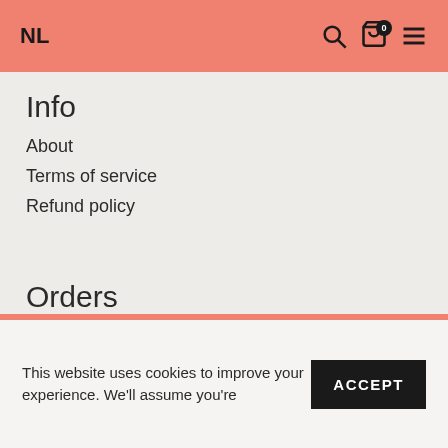NL
Info
About
Terms of service
Refund policy
Orders
Shipping and Returns
Cookie Policy
Terms & Conditions
Contact
info@elenfhant.com
This website uses cookies to improve your experience. We'll assume you're